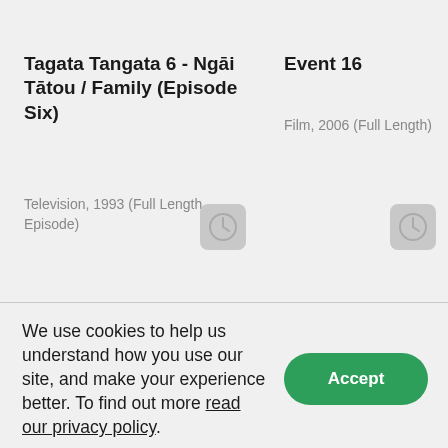Tagata Tangata 6 - Ngāi Tātou / Family (Episode Six)
Television, 1993 (Full Length Episode)
Event 16
Film, 2006 (Full Length)
[Figure (illustration): Clock/time icon (grey square with rounded corners containing a clock symbol)]
[Figure (illustration): Clock/time icon (grey square with rounded corners containing a clock symbol)]
We use cookies to help us understand how you use our site, and make your experience better. To find out more read our privacy policy.